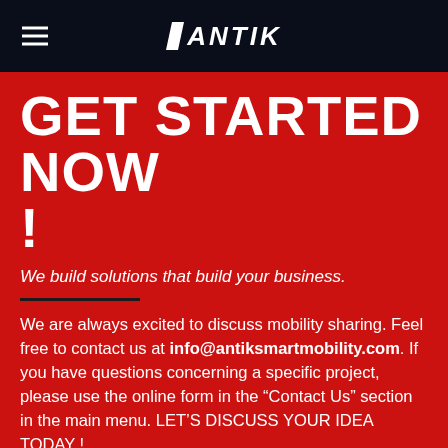ANTIK
GET STARTED NOW !
We build solutions that build your business.
We are always excited to discuss mobility sharing. Feel free to contact us at info@antiksmartmobility.com. If you have questions concerning a specific project, please use the online form in the “Contact Us” section in the main menu. LET’S DISCUSS YOUR IDEA TODAY !